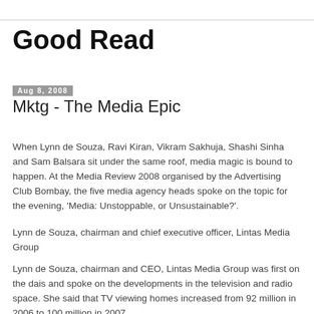Good Read
Aug 8, 2008
Mktg - The Media Epic
When Lynn de Souza, Ravi Kiran, Vikram Sakhuja, Shashi Sinha and Sam Balsara sit under the same roof, media magic is bound to happen. At the Media Review 2008 organised by the Advertising Club Bombay, the five media agency heads spoke on the topic for the evening, 'Media: Unstoppable, or Unsustainable?'.
Lynn de Souza, chairman and chief executive officer, Lintas Media Group
Lynn de Souza, chairman and CEO, Lintas Media Group was first on the dais and spoke on the developments in the television and radio space. She said that TV viewing homes increased from 92 million in 2006 to 100 million in 2007.